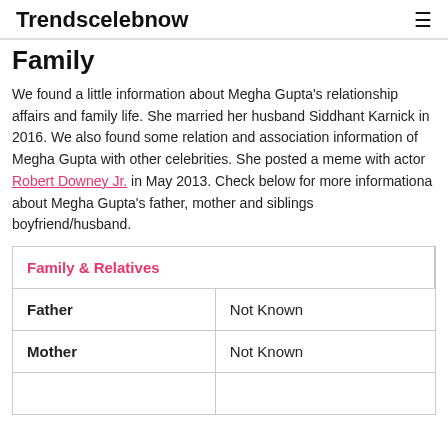Trendscelebnow
Family
We found a little information about Megha Gupta's relationship affairs and family life. She married her husband Siddhant Karnick in 2016. We also found some relation and association information of Megha Gupta with other celebrities. She posted a meme with actor Robert Downey Jr. in May 2013. Check below for more informationa about Megha Gupta's father, mother and siblings boyfriend/husband.
| Family & Relatives |  |
| --- | --- |
| Father | Not Known |
| Mother | Not Known |